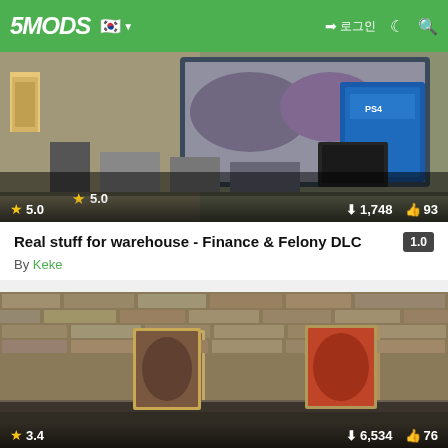5MODS
[Figure (screenshot): Screenshot from GTA V warehouse mod showing PS4 consoles and gaming items on shelves. Rating: 5.0, Downloads: 1,748, Likes: 93]
Real stuff for warehouse - Finance & Felony DLC
By Keke
[Figure (screenshot): Screenshot from GTA V mod showing a room with brick walls, music posters, framed jerseys, and a phone showing 06:56 Contacts screen. Rating: 3.4, Downloads: 6,534, Likes: 76]